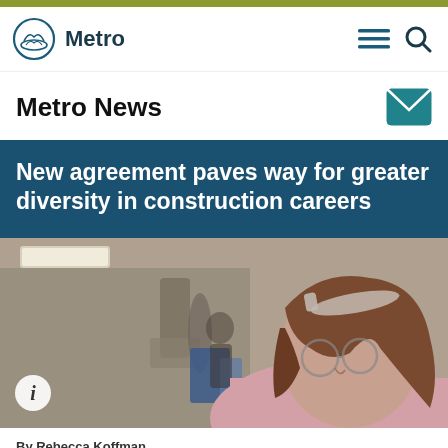[Figure (logo): Metro logo with circular mountain/wave emblem and 'Metro' text]
[Figure (other): Hamburger menu icon and search magnifying glass icon in dark teal]
Metro News
[Figure (other): Teal envelope/email icon]
New agreement paves way for greater diversity in construction careers
[Figure (photo): Young woman with glasses and a headband, wearing a pink hoodie, looking down while working in what appears to be a workshop or lab setting]
By Rebecca Koffman